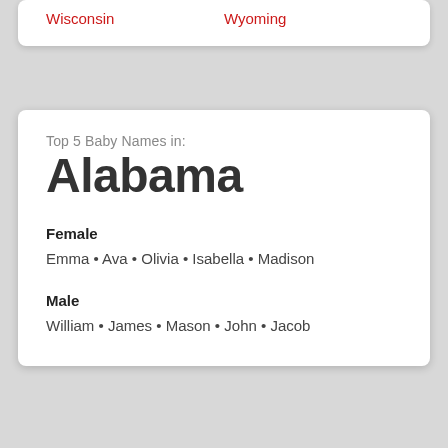Wisconsin
Wyoming
Top 5 Baby Names in:
Alabama
Female
Emma • Ava • Olivia • Isabella • Madison
Male
William • James • Mason • John • Jacob